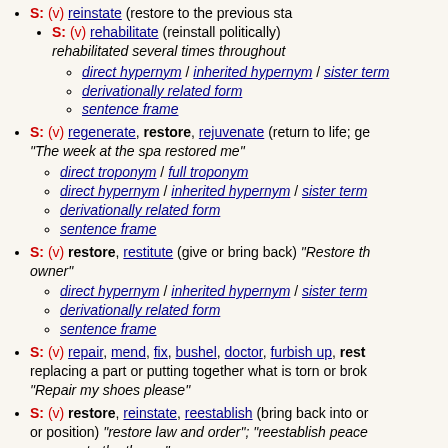S: (v) reinstate (restore to the previous sta...
S: (v) rehabilitate (reinstall politically) rehabilitated several times throughout...
direct hypernym / inherited hypernym / sister term
derivationally related form
sentence frame
S: (v) regenerate, restore, rejuvenate (return to life; ge... "The week at the spa restored me"
direct troponym / full troponym
direct hypernym / inherited hypernym / sister term
derivationally related form
sentence frame
S: (v) restore, restitute (give or bring back) "Restore th... owner"
direct hypernym / inherited hypernym / sister term
derivationally related form
sentence frame
S: (v) repair, mend, fix, bushel, doctor, furbish up, rest... replacing a part or putting together what is torn or brok... "Repair my shoes please"
S: (v) restore, reinstate, reestablish (bring back into or... or position) "restore law and order"; "reestablish peace... emperor to the throne"